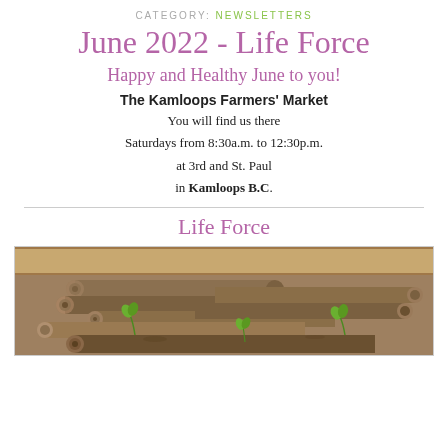CATEGORY: NEWSLETTERS
June 2022 - Life Force
Happy and Healthy June to you!
The Kamloops Farmers' Market
You will find us there
Saturdays from 8:30a.m. to 12:30p.m.
at 3rd and St. Paul
in Kamloops B.C.
Life Force
[Figure (photo): A wooden crate or box filled with logs/sticks laid horizontally, with small green seedlings sprouting from the ends of some logs. The background shows a wooden wall.]